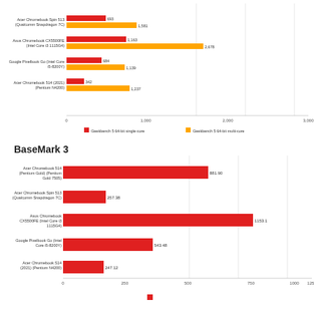[Figure (grouped-bar-chart): Geekbench 5 64-bit (top chart)]
Geekbench 5 64-bit single-core   Geekbench 5 64-bit multi-core
BaseMark 3
[Figure (bar-chart): BaseMark 3]